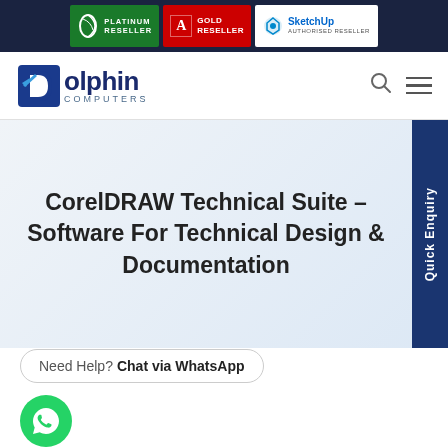[Figure (logo): Top banner with Corel Platinum Reseller, Adobe Gold Reseller, and SketchUp Authorised Reseller badges on dark navy background]
[Figure (logo): Dolphin Computers logo with blue stylized D and dolphin icon, navigation bar with search and menu icons]
CorelDRAW Technical Suite – Software For Technical Design & Documentation
Need Help? Chat via WhatsApp
[Figure (illustration): Green circular WhatsApp button with phone handset icon]